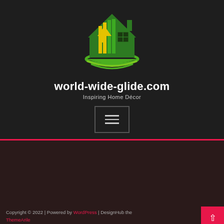[Figure (logo): House/home décor logo with green house shape, yellow and green vertical bars, and a green swoosh/arc underneath]
world-wide-glide.com
Inspiring Home Décor
[Figure (other): Hamburger menu button with three horizontal lines inside a rectangular border]
Copyright © 2022 | Powered by WordPress | DesignHub theme by ThemeArile